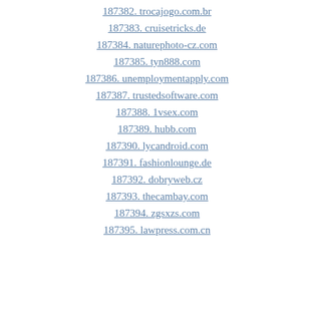187382. trocajogo.com.br
187383. cruisetricks.de
187384. naturephoto-cz.com
187385. tyn888.com
187386. unemploymentapply.com
187387. trustedsoftware.com
187388. 1vsex.com
187389. hubb.com
187390. lycandroid.com
187391. fashionlounge.de
187392. dobryweb.cz
187393. thecambay.com
187394. zgsxzs.com
187395. lawpress.com.cn